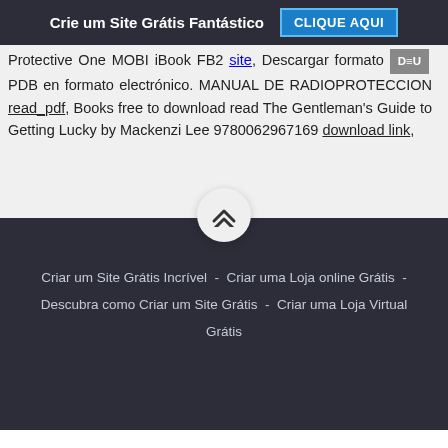Crie um Site Grátis Fantástico  CLIQUE AQUI
Protective One MOBI iBook FB2 site, Descargar formato DEU PDB en formato electrónico. MANUAL DE RADIOPROTECCION read_pdf, Books free to download read The Gentleman&#039;s Guide to Getting Lucky by Mackenzi Lee 9780062967169 download link,
Criar um Site Grátis Incrível  -  Criar uma Loja online Grátis  -  Descubra como Criar um Site Grátis  -  Criar uma Loja Virtual Grátis